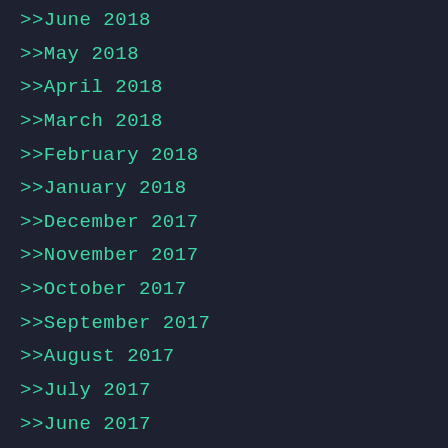>>June 2018
>>May 2018
>>April 2018
>>March 2018
>>February 2018
>>January 2018
>>December 2017
>>November 2017
>>October 2017
>>September 2017
>>August 2017
>>July 2017
>>June 2017
>>May 2017